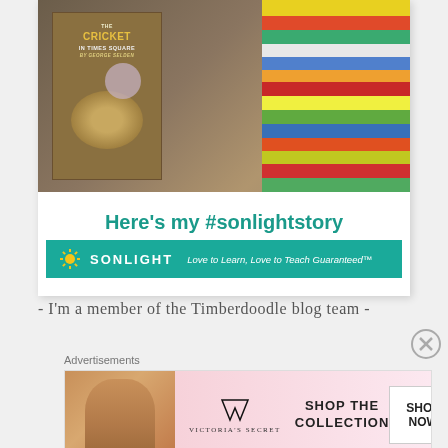[Figure (photo): Sonlight advertisement showing a child holding 'The Cricket in Times Square' book with a stack of colorful children's books in the background. Text reads 'Here's my #sonlightstory' with Sonlight logo and tagline 'Love to Learn, Love to Teach Guaranteed™']
- I'm a member of the Timberdoodle blog team -
Advertisements
[Figure (photo): Victoria's Secret advertisement banner with model, VS logo, text 'SHOP THE COLLECTION' and 'SHOP NOW' button on pink background]